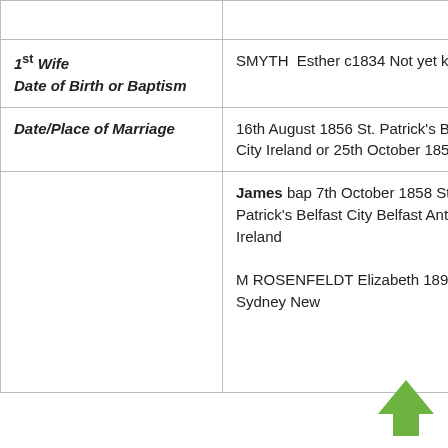| Label | Detail |
| --- | --- |
|  |  |
| 1st Wife
Date of Birth or Baptism | SMYTH  Esther c1834 Not yet known |
| Date/Place of Marriage | 16th August 1856 St. Patrick's Belfast City Ireland or 25th October 1855 |
|  | James bap 7th October 1858 St. Patrick's Belfast City Belfast Antrim Ireland
M ROSENFELDT Elizabeth 1896 Sydney New |